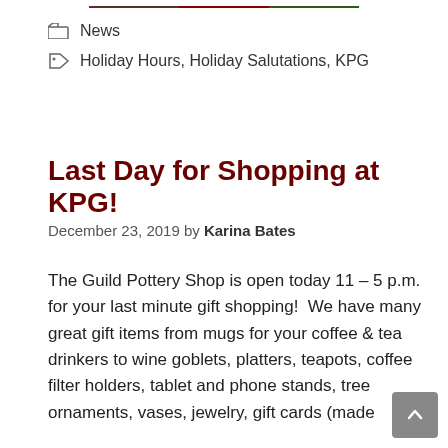[Figure (photo): Partial image at top of page, appears to be a colorful outdoor or holiday scene]
News
Holiday Hours, Holiday Salutations, KPG
Last Day for Shopping at KPG!
December 23, 2019 by Karina Bates
The Guild Pottery Shop is open today 11 – 5 p.m. for your last minute gift shopping!  We have many great gift items from mugs for your coffee & tea drinkers to wine goblets, platters, teapots, coffee filter holders, tablet and phone stands, tree ornaments, vases, jewelry, gift cards (made